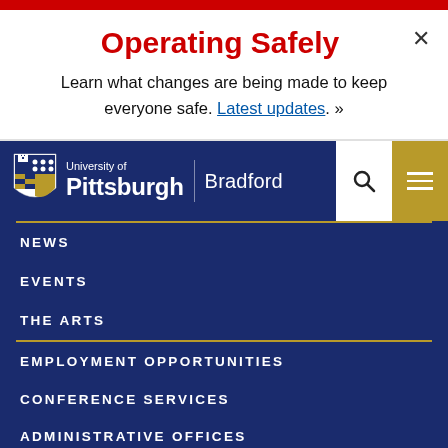Operating Safely
Learn what changes are being made to keep everyone safe. Latest updates. »
[Figure (logo): University of Pittsburgh Bradford logo with shield crest on navy blue navigation header]
NEWS
EVENTS
THE ARTS
EMPLOYMENT OPPORTUNITIES
CONFERENCE SERVICES
ADMINISTRATIVE OFFICES